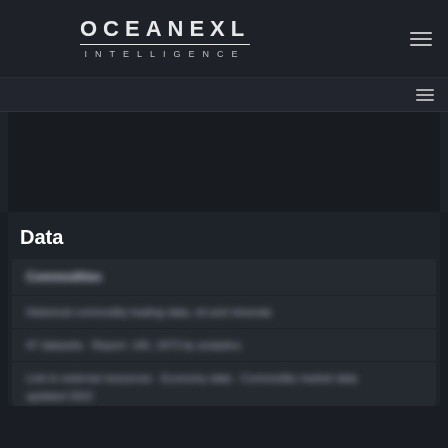OCEANEXL INTELLIGENCE
Data
[Figure (screenshot): Blurred/redacted data rows below the Data section header showing obscured content fields]